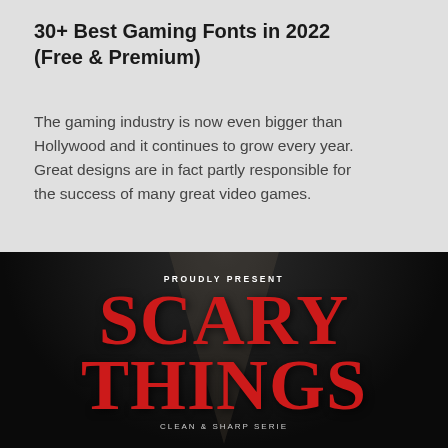30+ Best Gaming Fonts in 2022 (Free & Premium)
The gaming industry is now even bigger than Hollywood and it continues to grow every year. Great designs are in fact partly responsible for the success of many great video games.
[Figure (illustration): Dark promotional image showing 'SCARY THINGS' in large red serif font on a black background with a subtle light beam. Text at top reads 'PROUDLY PRESENT' and bottom shows partial text 'CLEAN & SHARP SERIE'.]